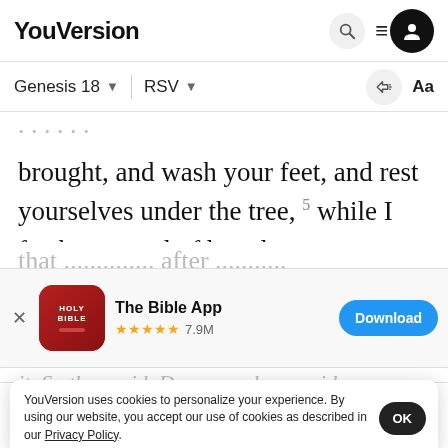YouVersion
Genesis 18 | RSV
brought, and wash your feet, and rest yourselves under the tree, 5 while I fetch a morsel of bread,
[Figure (screenshot): App install banner: The Bible App, 5 stars, 7.9M reviews, Download button]
it. So they said, Do as you have said.
6 And A...
and sai...
YouVersion uses cookies to personalize your experience. By using our website, you accept our use of cookies as described in our Privacy Policy.
Home | Bible | Plans | Videos